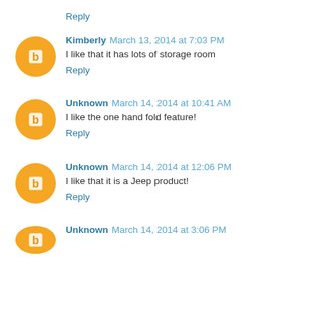Reply
Kimberly March 13, 2014 at 7:03 PM
I like that it has lots of storage room
Reply
Unknown March 14, 2014 at 10:41 AM
I like the one hand fold feature!
Reply
Unknown March 14, 2014 at 12:06 PM
I like that it is a Jeep product!
Reply
Unknown March 14, 2014 at 3:06 PM